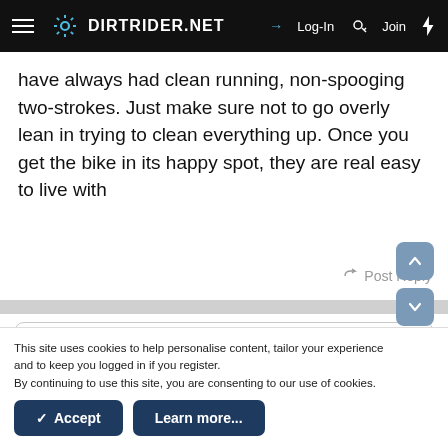DIRTRIDER.NET  →Log-In  Join
have always had clean running, non-spooging two-strokes. Just make sure not to go overly lean in trying to clean everything up. Once you get the bike in its happy spot, they are real easy to live with
Post Reply
[Figure (screenshot): Reply text input box with placeholder text 'Write your reply...']
This site uses cookies to help personalise content, tailor your experience and to keep you logged in if you register.
By continuing to use this site, you are consenting to our use of cookies.
✓ Accept   Learn more...